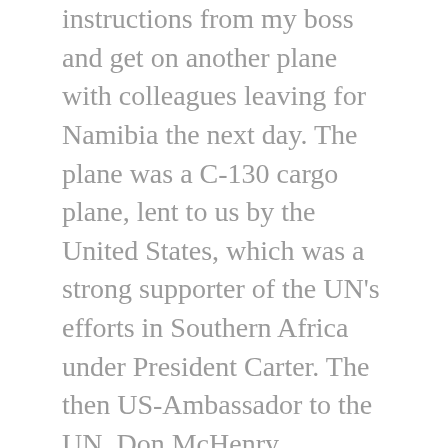instructions from my boss and get on another plane with colleagues leaving for Namibia the next day. The plane was a C-130 cargo plane, lent to us by the United States, which was a strong supporter of the UN's efforts in Southern Africa under President Carter. The then US-Ambassador to the UN, Don McHenry, personally saw us off.
At that time, I was still able to sleep in cargo planes without problems and woke up on arrival to find out that I really had no function in this survey mission except to assuage the German Foreign Office. They had wanted to send one of their own diplomats, a request that was refused by the head of the UN mission, Martti Ahtisaari. Sitting by the pool in the Safari motel in Windhoek doing nothing was not my thing; when the mission split up into various civilian